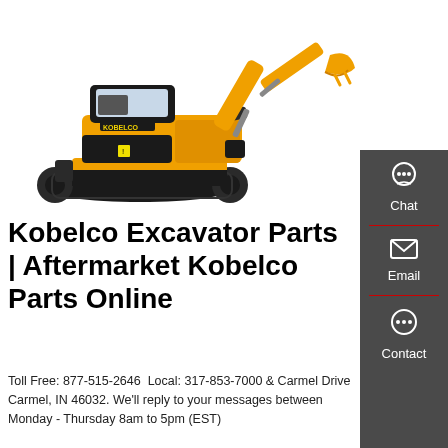[Figure (photo): Yellow and black Kobelco mini excavator on white background, with extended arm and bucket]
Kobelco Excavator Parts | Aftermarket Kobelco Parts Online
Toll Free: 877-515-2646  Local: 317-853-7000  8... Carmel Drive Carmel, IN 46032. We'll reply to your messages between Monday - Thursday 8am to 5pm (EST)